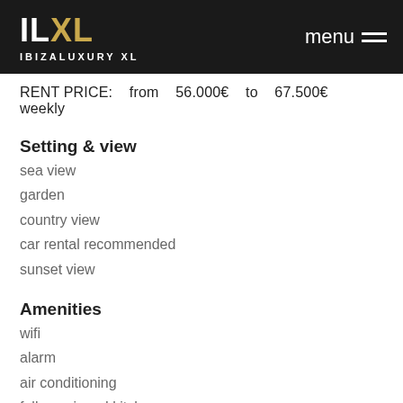ILXL IBIZALUXURY XL | menu
RENT PRICE: from 56.000€ to 67.500€ weekly
Setting & view
sea view
garden
country view
car rental recommended
sunset view
Amenities
wifi
alarm
air conditioning
fully equipped kitchen